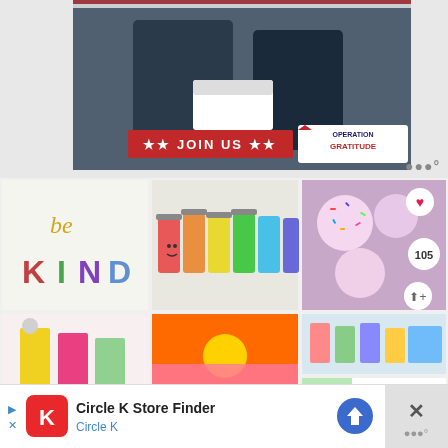[Figure (screenshot): Operation Gratitude promotional banner showing two people exchanging a box, with red JOIN US banner and Operation Gratitude logo]
[Figure (screenshot): Pinterest-style image grid: 'be KIND' colorful letters on white wall, colored painted mason jars with faces, sprinkle cookies, colorful room decor, sunset over water, colorful Easter item, What's Next panel showing 'How to Dye Easter Eggs...']
[Figure (screenshot): Circle K Store Finder advertisement banner with Circle K logo, navigation arrow icon, and close X button]